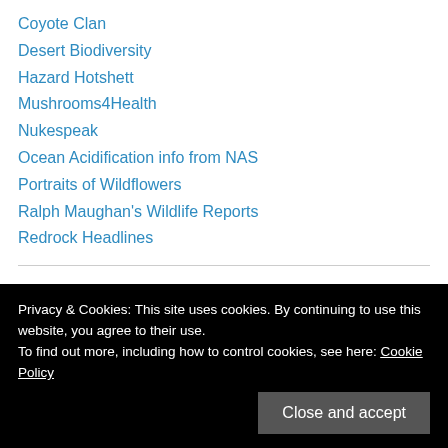Coyote Clan
Desert Biodiversity
Hazard Hotshett
Mushrooms4Health
Nukespeak
Ocean Acidification info from NAS
Portraits of Wildflowers
Ralph Maughan's Wildlife Reports
Redrock Headlines
Faucets of Information - Economics
Adam Smith's Lost Legacy
Privacy & Cookies: This site uses cookies. By continuing to use this website, you agree to their use.
To find out more, including how to control cookies, see here: Cookie Policy
Commanding Heights